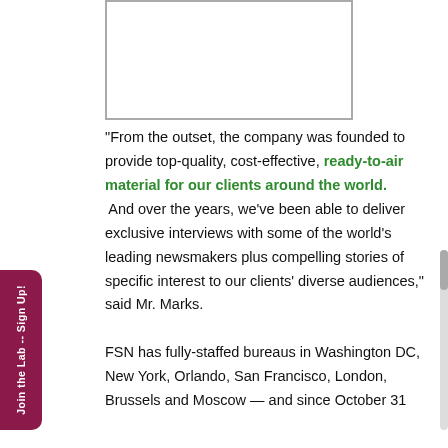[Figure (photo): Empty white box with border, likely a placeholder for an image]
"From the outset, the company was founded to provide top-quality, cost-effective, ready-to-air material for our clients around the world. And over the years, we've been able to deliver exclusive interviews with some of the world's leading newsmakers plus compelling stories of specific interest to our clients' diverse audiences," said Mr. Marks.
FSN has fully-staffed bureaus in Washington DC, New York, Orlando, San Francisco, London, Brussels and Moscow — and since October 31